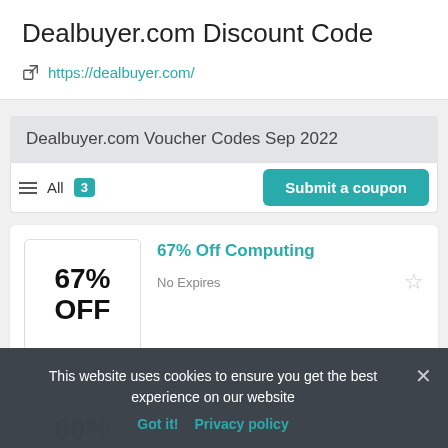Dealbuyer.com Discount Code
https://dealbuyer.com/
Dealbuyer.com Voucher Codes Sep 2022
All 3  Submit a coupon
[Figure (other): Coupon card showing 67% OFF Computing, No Expires]
67% Off Computing
No Expires
This website uses cookies to ensure you get the best experience on our website
Got it!  Privacy policy